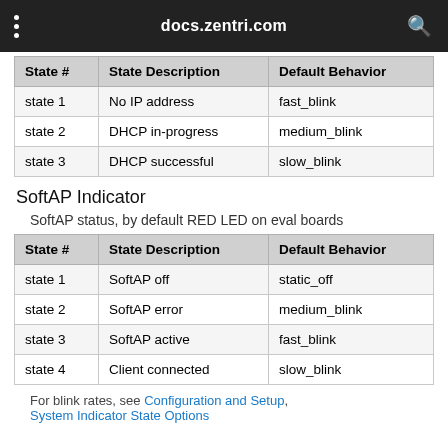docs.zentri.com
| State # | State Description | Default Behavior |
| --- | --- | --- |
| state 1 | No IP address | fast_blink |
| state 2 | DHCP in-progress | medium_blink |
| state 3 | DHCP successful | slow_blink |
SoftAP Indicator
SoftAP status, by default RED LED on eval boards
| State # | State Description | Default Behavior |
| --- | --- | --- |
| state 1 | SoftAP off | static_off |
| state 2 | SoftAP error | medium_blink |
| state 3 | SoftAP active | fast_blink |
| state 4 | Client connected | slow_blink |
For blink rates, see Configuration and Setup, System Indicator State Options